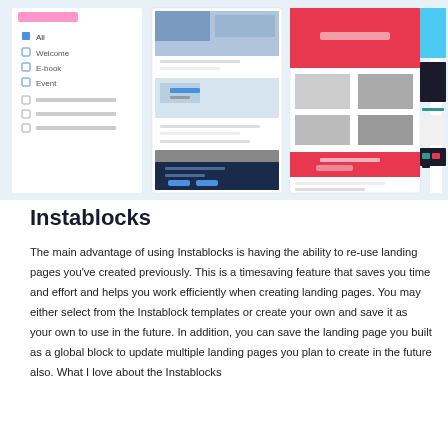[Figure (screenshot): Screenshot of a landing page builder interface showing multiple website template previews including a sidebar with navigation options (All, Welcome, E-book, Event) and several page template thumbnails with various layouts in red, dark blue, teal/cyan color schemes]
Instablocks
The main advantage of using Instablocks is having the ability to re-use landing pages you’ve created previously. This is a timesaving feature that saves you time and effort and helps you work efficiently when creating landing pages. You may either select from the Instablock templates or create your own and save it as your own to use in the future. In addition, you can save the landing page you built as a global block to update multiple landing pages you plan to create in the future also. What I love about the Instablocks